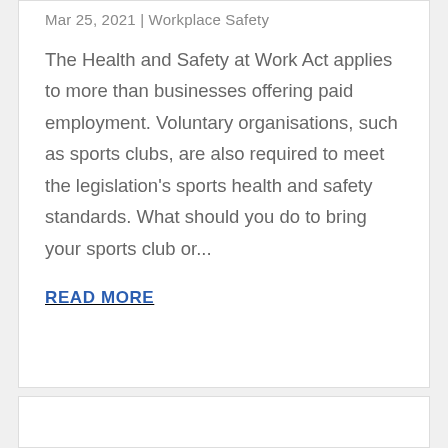Mar 25, 2021 | Workplace Safety
The Health and Safety at Work Act applies to more than businesses offering paid employment. Voluntary organisations, such as sports clubs, are also required to meet the legislation's sports health and safety standards. What should you do to bring your sports club or...
READ MORE